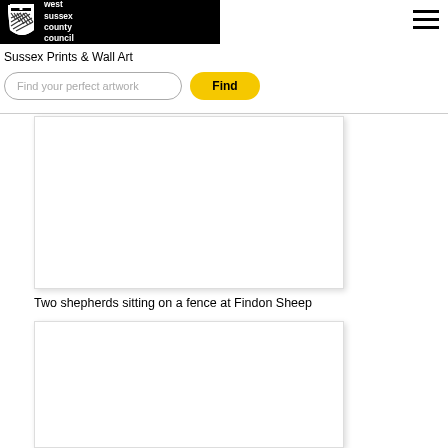west sussex county council
Sussex Prints & Wall Art
Find your perfect artwork
Find
[Figure (photo): White blank artwork card placeholder for first artwork]
Two shepherds sitting on a fence at Findon Sheep
[Figure (photo): White blank artwork card placeholder for second artwork]